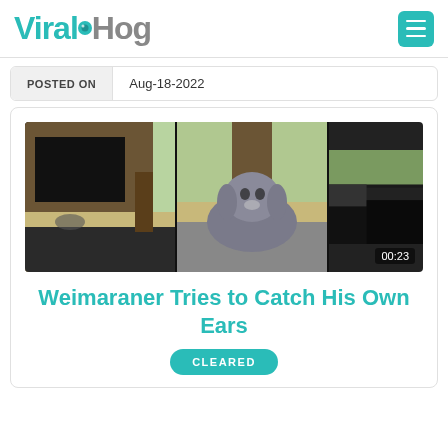ViralHog
POSTED ON | Aug-18-2022
[Figure (screenshot): Video thumbnail showing three panels: a dog (Weimaraner) in different positions, duration badge 00:23]
Weimaraner Tries to Catch His Own Ears
CLEARED